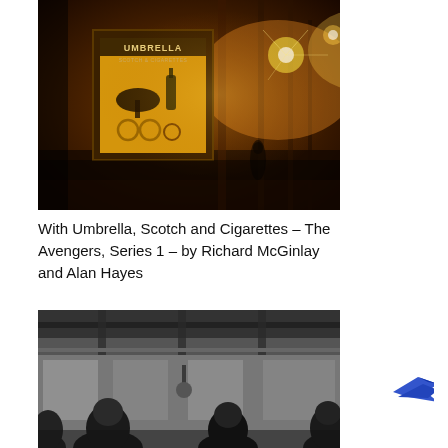[Figure (photo): A dark atmospheric street scene with warm orange and amber lighting. A bus shelter or billboard displays text reading 'UMBRELLA' and shows illustrations of an umbrella, bottle, and other items. Street lamps glow brightly in the background creating a bokeh effect.]
With Umbrella, Scotch and Cigarettes – The Avengers, Series 1 – by Richard McGinlay and Alan Hayes
[Figure (photo): A black and white photograph showing people in what appears to be a train or bus interior, with ceiling beams visible overhead.]
[Figure (logo): A blue bird/arrow logo on white background, partially visible in bottom right corner.]